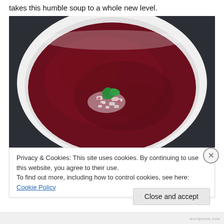takes this humble soup to a whole new level.
[Figure (photo): Overhead view of a white bowl containing deep red/burgundy beet soup, garnished with crumbled white cheese (feta) and fresh green mint leaves, on a dark slate background.]
Privacy & Cookies: This site uses cookies. By continuing to use this website, you agree to their use.
To find out more, including how to control cookies, see here: Cookie Policy
Close and accept